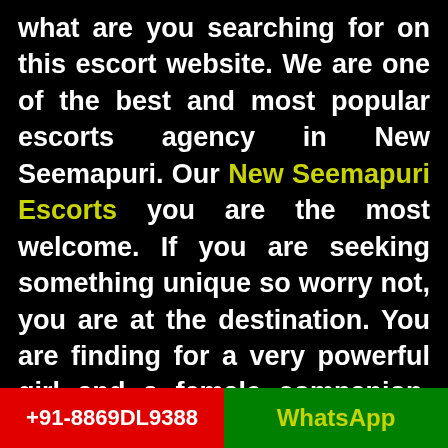what are you searching for on this escort website. We are one of the best and most popular escorts agency in New Seemapuri. Our New Seemapuri Escorts you are the most welcome. If you are seeking something unique so worry not, you are at the destination. You are finding for a very powerful girl and a female companion. We know every people want the most gorgeous, talented, and sexy girls during intercourse time. If you have also this type of fantasy and you also want to make your desires come true. So our call girls are the best
+91-8869DL9388
WhatsApp